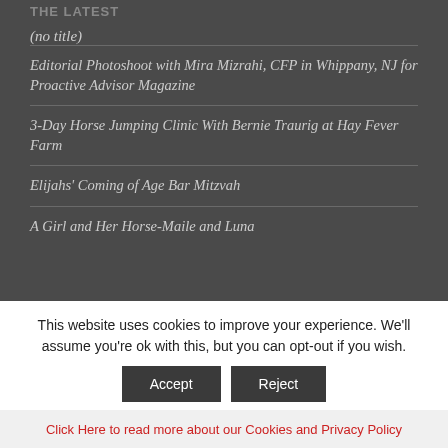THE LATEST
(no title)
Editorial Photoshoot with Mira Mizrahi, CFP in Whippany, NJ for Proactive Advisor Magazine
3-Day Horse Jumping Clinic With Bernie Traurig at Hay Fever Farm
Elijahs' Coming of Age Bar Mitzvah
A Girl and Her Horse-Maile and Luna
This website uses cookies to improve your experience. We'll assume you're ok with this, but you can opt-out if you wish.
Accept | Reject
Click Here to read more about our Cookies and Privacy Policy